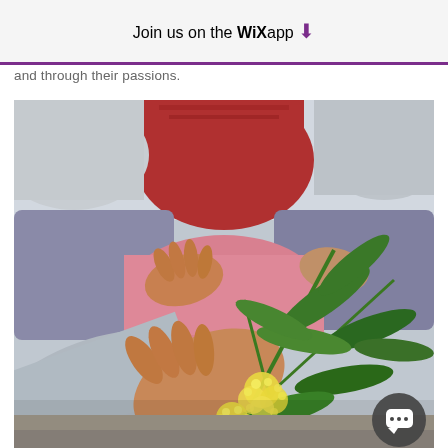Join us on the WiX app ⬇
and through their passions.
[Figure (photo): A child sitting cross-legged outdoors, holding green leafy branches with small fluffy yellow flowers. Another child visible in the background, both wearing casual clothing. Foreground shows a close-up hand grasping the flowering plant.]